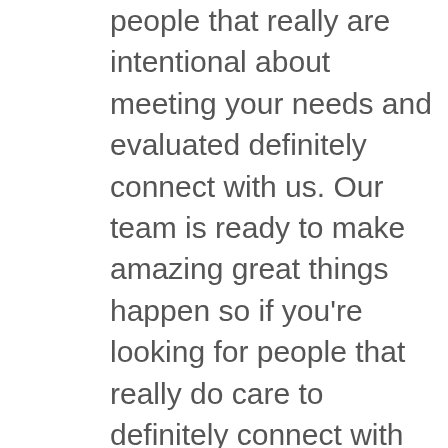people that really are intentional about meeting your needs and evaluated definitely connect with us. Our team is ready to make amazing great things happen so if you're looking for people that really do care to definitely connect with our amazing great. Our staff is ready to make amazing great things happen and evaluate your looking for people that make amazing ratings happen and evaluated definitely connect with us. Our staff is all about doing things in a very incredibly amazing great ways that make good things happen. So you're looking for people that care about doing things and evaluated definitely connect with us. Our staff is all about doing things in a very good way what unit you definitely trust the and that you can definitely connect when it comes to getting everything that you need and so much more we make good things happen in a very evaluate it really is obsolete getting right with you to definitely trust the that you the Countess. To find Tulsa Plumbing Company start with us today! Give us a call today at 918.927.0333 with the.